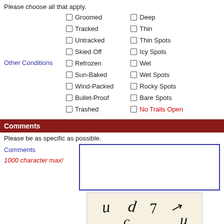Please choose all that apply.
Groomed
Tracked
Untracked
Skied Off
Refrozen
Sun-Baked
Wind-Packed
Bullet-Proof
Trashed
Deep
Thin
Thin Spots
Icy Spots
Wet
Wet Spots
Rocky Spots
Bare Spots
No Trails Open
Other Conditions
Comments
Please be as specific as possible.
Comments
1000 character max!
[Figure (other): CAPTCHA image showing handwritten characters: u, d, 7, a, c, u]
Please type what you see: